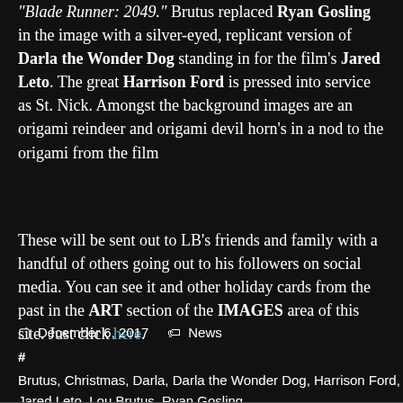“Blade Runner: 2049.” Brutus replaced Ryan Gosling in the image with a silver-eyed, replicant version of Darla the Wonder Dog standing in for the film’s Jared Leto. The great Harrison Ford is pressed into service as St. Nick. Amongst the background images are an origami reindeer and origami devil horn’s in a nod to the origami from the film
These will be sent out to LB’s friends and family with a handful of others going out to his followers on social media. You can see it and other holiday cards from the past in the ART section of the IMAGES area of this site. Just click here.
December 6, 2017   News
# Brutus, Christmas, Darla, Darla the Wonder Dog, Harrison Ford, Jared Leto, Lou Brutus, Ryan Gosling